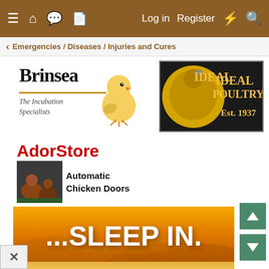≡  🏠  💬  📄    Log in   Register   ⚡   🔍
< Emergencies / Diseases / Injuries and Cures
[Figure (logo): Brinsea - The Incubation Specialists logo with yellow chick]
[Figure (logo): Ideal Poultry Est. 1937 logo on dark background]
[Figure (logo): AdorStore Automatic Chicken Doors logo with hens image]
[Figure (photo): ...SLEEP IN. advertisement banner with orange sky background]
[Figure (other): Close (X) button overlay]